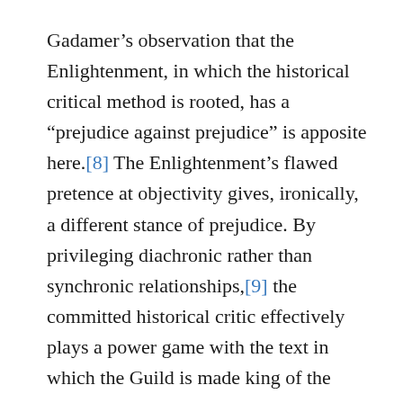Gadamer's observation that the Enlightenment, in which the historical critical method is rooted, has a “prejudice against prejudice” is apposite here.[8] The Enlightenment’s flawed pretence at objectivity gives, ironically, a different stance of prejudice. By privileging diachronic rather than synchronic relationships,[9] the committed historical critic effectively plays a power game with the text in which the Guild is made king of the text.
The three areas examined thus far indicate that an inner canon is a notion central to large sections of recent, and not such recent, interpretive work. The three areas also exemplify the intimate relationship between...